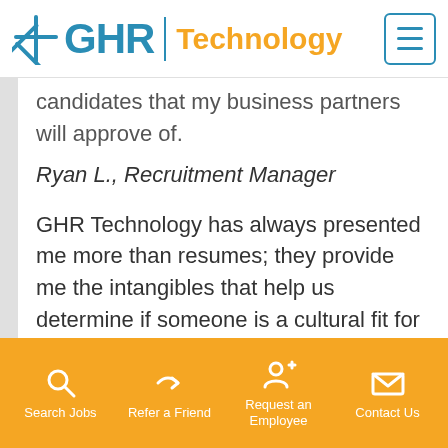[Figure (logo): GHR Technology logo with blue snowflake icon, blue GHR text, vertical divider, and orange Technology text, plus hamburger menu button]
candidates that my business partners will approve of.
Ryan L., Recruitment Manager
GHR Technology has always presented me more than resumes; they provide me the intangibles that help us determine if someone is a cultural fit for the
Search Jobs   Refer a Friend   Request an Employee   Contact Us